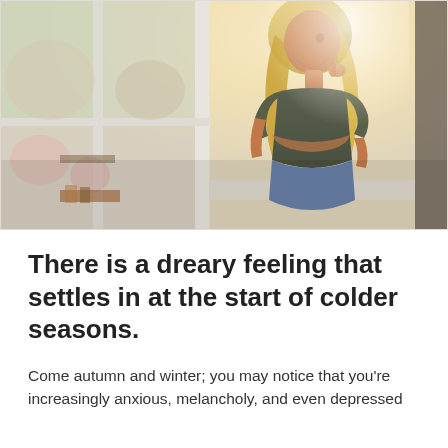[Figure (photo): A young woman with long blonde hair wearing a dark olive green t-shirt and jeans, standing by a large window, looking outside thoughtfully with her hand on her chin. Bright light streams through the window with a blurred outdoor background.]
There is a dreary feeling that settles in at the start of colder seasons.
Come autumn and winter; you may notice that you're increasingly anxious, melancholy, and even depressed